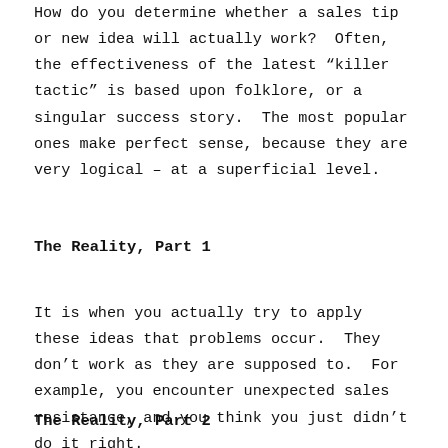How do you determine whether a sales tip or new idea will actually work?  Often, the effectiveness of the latest “killer tactic” is based upon folklore, or a singular success story.  The most popular ones make perfect sense, because they are very logical – at a superficial level.
The Reality, Part 1
It is when you actually try to apply these ideas that problems occur.  They don’t work as they are supposed to.  For example, you encounter unexpected sales resistance, and you think you just didn’t do it right.
The Reality, Part 2